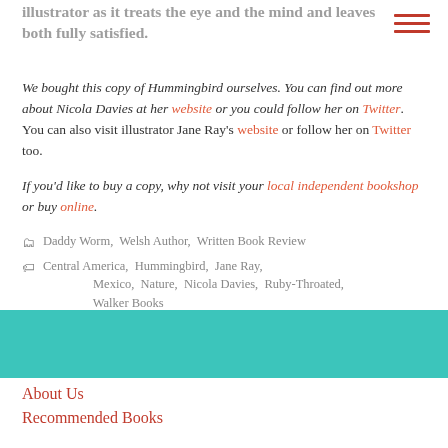illustrator as it treats the eye and the mind and leaves both fully satisfied.
We bought this copy of Hummingbird ourselves. You can find out more about Nicola Davies at her website or you could follow her on Twitter. You can also visit illustrator Jane Ray's website or follow her on Twitter too.
If you'd like to buy a copy, why not visit your local independent bookshop or buy online.
Daddy Worm, Welsh Author, Written Book Review
Central America, Hummingbird, Jane Ray, Mexico, Nature, Nicola Davies, Ruby-Throated, Walker Books
About Us
Recommended Books